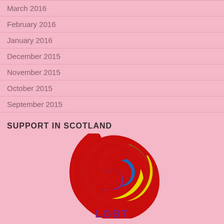March 2016
February 2016
January 2016
December 2015
November 2015
October 2015
September 2015
SUPPORT IN SCOTLAND
[Figure (logo): LGBT logo with colorful swirl design in red, orange, yellow, green, blue, and purple, with 'LGBT' text in purple at the bottom]